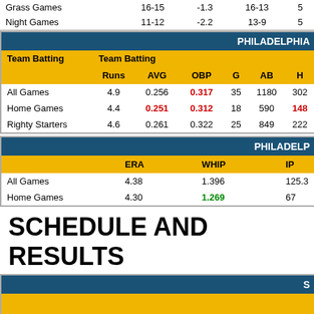|  | 16-15 | -1.3 | 16-13 | 5 |
| --- | --- | --- | --- | --- |
| Grass Games | 16-15 | -1.3 | 16-13 | 5 |
| Night Games | 11-12 | -2.2 | 13-9 | 5 |
| PHILADELPHIA |  |  |  |  |  |  |
| --- | --- | --- | --- | --- | --- | --- |
| Team Batting | Team Batting |  |  |  |  |  |
|  | Runs | AVG | OBP | G | AB | H |
| All Games | 4.9 | 0.256 | 0.317 | 35 | 1180 | 302 |
| Home Games | 4.4 | 0.251 | 0.312 | 18 | 590 | 148 |
| Righty Starters | 4.6 | 0.261 | 0.322 | 25 | 849 | 222 |
| PHILADELPHIA |  |  |  |
| --- | --- | --- | --- |
|  | ERA | WHIP | IP |
| All Games | 4.38 | 1.396 | 125.3 |
| Home Games | 4.30 | 1.269 | 67 |
SCHEDULE AND RESULTS
| S |  |  |  |
| --- | --- | --- | --- |
| Date | Team Starter | Opponent | O |
| 5/4/2022 | CLEVINGER(R) | @ CLEVELAND | P |
| 5/4/2022 | GORE(L) | @ CLEVELAND | Q |
| 5/5/2022 | MARTINEZ(R) | MIAMI | L |